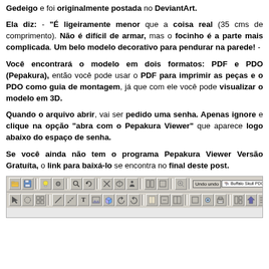Gedeigo e foi originalmente postada no DeviantArt.
Ela diz: - "É ligeiramente menor que a coisa real (35 cms de comprimento). Não é difícil de armar, mas o focinho é a parte mais complicada. Um belo modelo decorativo para pendurar na parede! -
Você encontrará o modelo em dois formatos: PDF e PDO (Pepakura), então você pode usar o PDF para imprimir as peças e o PDO como guia de montagem, já que com ele você pode visualizar o modelo em 3D.
Quando o arquivo abrir, vai ser pedido uma senha. Apenas ignore e clique na opção "abra com o Pepakura Viewer" que aparece logo abaixo do espaço de senha.
Se você ainda não tem o programa Pepakura Viewer Versão Gratuíta, o link para baixá-lo se encontra no final deste post.
[Figure (screenshot): Screenshot of Pepakura Designer 4 toolbar with two rows of icon buttons and menus, including an Undo button and title bar showing 'Buffalo Skull PDO - Pepakura Designer 4']